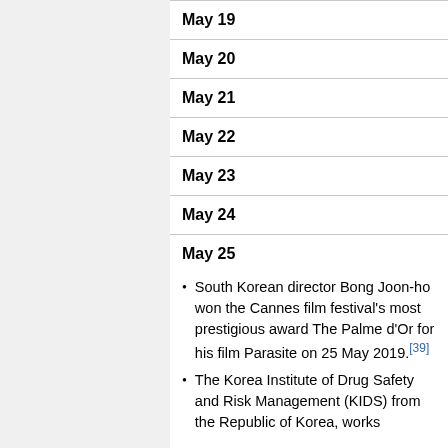May 19
May 20
May 21
May 22
May 23
May 24
May 25
South Korean director Bong Joon-ho won the Cannes film festival's most prestigious award The Palme d'Or for his film Parasite on 25 May 2019.[39]
The Korea Institute of Drug Safety and Risk Management (KIDS) from the Republic of Korea, works